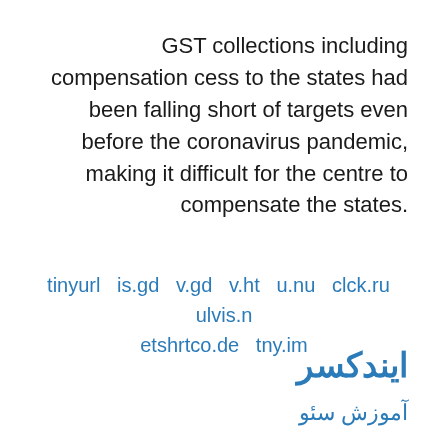GST collections including compensation cess to the states had been falling short of targets even before the coronavirus pandemic, making it difficult for the centre to compensate the states.
tinyurl  is.gd  v.gd  v.ht  u.nu  clck.ru  ulvis.n etshrtco.de  tny.im
ایندکسر
آموزش سئو